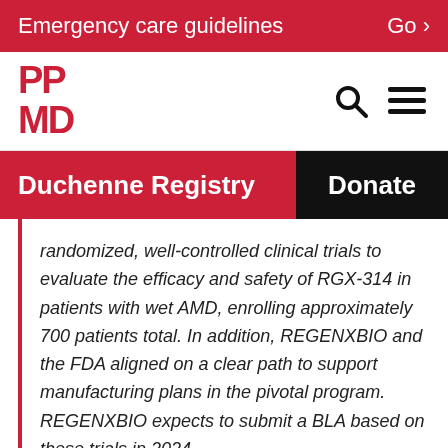Emergency care guidelines   Go >
[Figure (logo): PPMD logo - two stacked rows: PP and MD in bold red letters]
Duchenne Registry
Donate
randomized, well-controlled clinical trials to evaluate the efficacy and safety of RGX-314 in patients with wet AMD, enrolling approximately 700 patients total. In addition, REGENXBIO and the FDA aligned on a clear path to support manufacturing plans in the pivotal program. REGENXBIO expects to submit a BLA based on these trials in 2024.